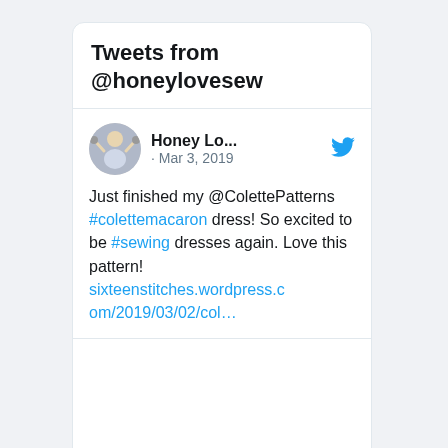Tweets from @honeylovesew
Honey Lo... · Mar 3, 2019
Just finished my @ColettePatterns #colettemacaron dress! So excited to be #sewing dresses again. Love this pattern!
sixteenstitches.wordpress.com/2019/03/02/col...